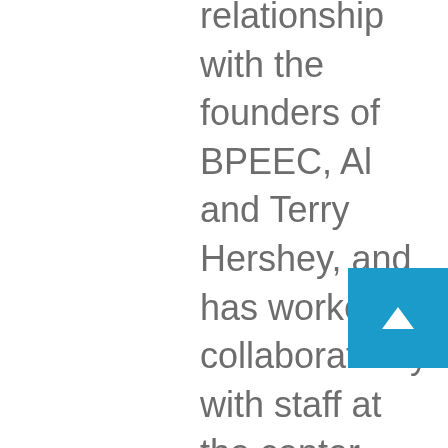relationship with the founders of BPEEC, Al and Terry Hershey, and has worked collaboratively with staff at the center since 2014. Together they have partnered on many projects to protect and enhance the natural resources of the South Park National Heritage Area. MALT looks forward to the next chapter as the organization embarks on a plan to fulfill its mission for land and water conservation, education and outreach, and establish a base in Park County for its operations.

Sacramento Creek Ranch is just